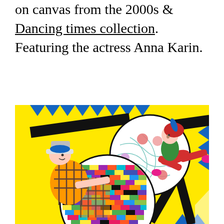on canvas from the 2000s & Dancing times collection. Featuring the actress Anna Karin.
[Figure (illustration): Colorful pop-art style painting on yellow background featuring two comic-style figures: a man in a hat with an orange plaid outfit on the left, and a woman in a red cape/outfit leaping on the right, with large circular graphic elements — one white with small floral patterns and teal lines, one filled with a colorful pixel/brick mosaic pattern — and bold black diagonal lines and blue triangle border elements.]